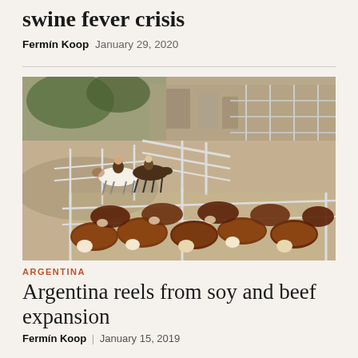swine fever crisis
Fermín Koop  January 29, 2020
[Figure (photo): Aerial view of a cattle yard with penned brown cattle in the foreground and riders on horseback in the background, surrounded by metal fencing enclosures.]
ARGENTINA
Argentina reels from soy and beef expansion
Fermín Koop  January 15, 2019